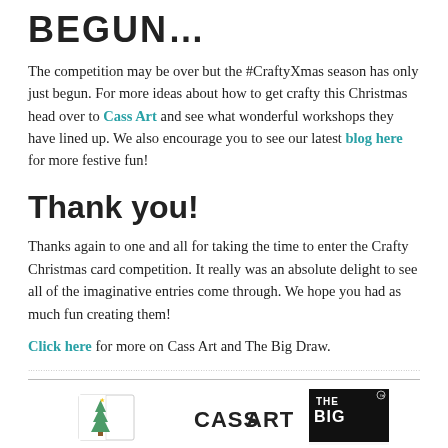BEGUN...
The competition may be over but the #CraftyXmas season has only just begun. For more ideas about how to get crafty this Christmas head over to Cass Art and see what wonderful workshops they have lined up. We also encourage you to see our latest blog here for more festive fun!
Thank you!
Thanks again to one and all for taking the time to enter the Crafty Christmas card competition. It really was an absolute delight to see all of the imaginative entries come through. We hope you had as much fun creating them!
Click here for more on Cass Art and The Big Draw.
[Figure (logo): Cass Art and The Big Draw logos at the bottom of the page]